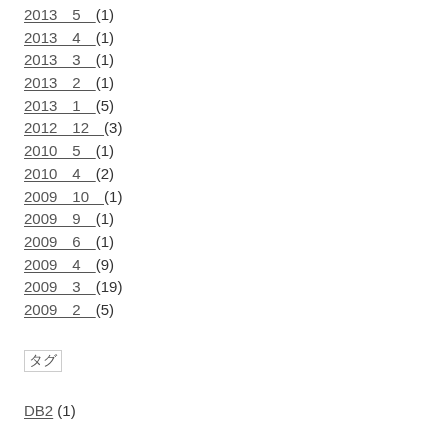2013  5  (1)
2013  4  (1)
2013  3  (1)
2013  2  (1)
2013  1  (5)
2012  12  (3)
2010  5  (1)
2010  4  (2)
2009  10  (1)
2009  9  (1)
2009  6  (1)
2009  4  (9)
2009  3  (19)
2009  2  (5)
タグ
DB2 (1)